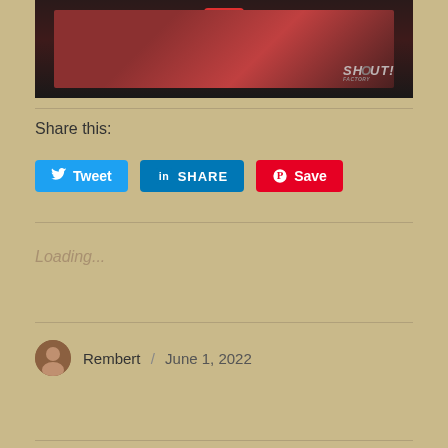[Figure (photo): Screenshot of a video thumbnail showing a performer in a red shirt near a microphone, with a 'Shout! Factory' logo watermark in the bottom right corner of the video]
Share this:
[Figure (infographic): Three social share buttons: Tweet (Twitter/blue), SHARE (LinkedIn/blue), Save (Pinterest/red)]
Loading...
Rembert / June 1, 2022